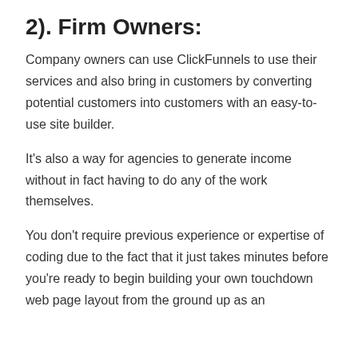2). Firm Owners:
Company owners can use ClickFunnels to use their services and also bring in customers by converting potential customers into customers with an easy-to-use site builder.
It's also a way for agencies to generate income without in fact having to do any of the work themselves.
You don't require previous experience or expertise of coding due to the fact that it just takes minutes before you're ready to begin building your own touchdown web page layout from the ground up as an